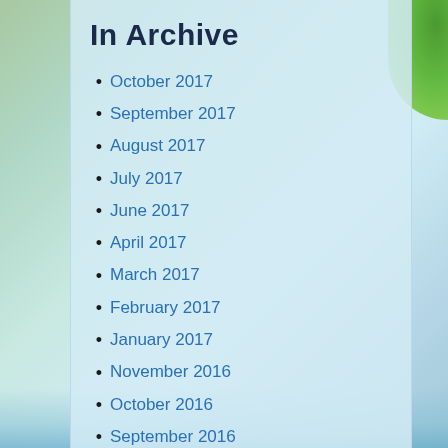In Archive
October 2017
September 2017
August 2017
July 2017
June 2017
April 2017
March 2017
February 2017
January 2017
November 2016
October 2016
September 2016
August 2016
July 2016
May 2016
April 2016
March 2016
February 2016
October 2015